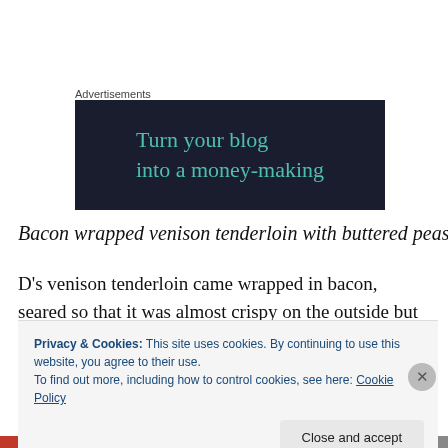Advertisements
[Figure (other): Advertisement banner with dark navy background and teal text reading 'Turn your blog into a money-making']
Bacon wrapped venison tenderloin with buttered peas
D's venison tenderloin came wrapped in bacon, seared so that it was almost crispy on the outside but perfectly pink
Privacy & Cookies: This site uses cookies. By continuing to use this website, you agree to their use.
To find out more, including how to control cookies, see here: Cookie Policy
Close and accept